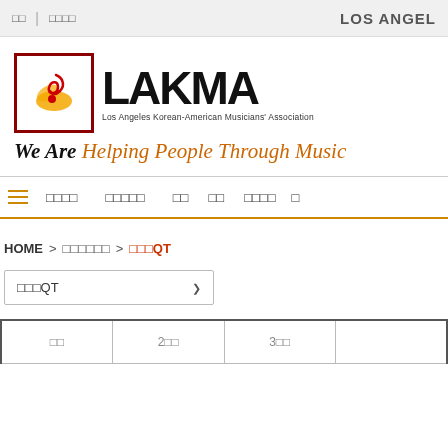LOS ANGEL...
[Figure (logo): LAKMA - Los Angeles Korean-American Musicians' Association logo with red bordered box containing musical symbol, bold LAKMA text, tagline 'We Are Helping People Through Music']
Navigation bar with hamburger menu, HOME, and other Korean menu items
HOME > □□□□□□ > □□□QT
□□□QT (dropdown selector)
| □□ | 2□□ | 3□□ |  |
| --- | --- | --- | --- |